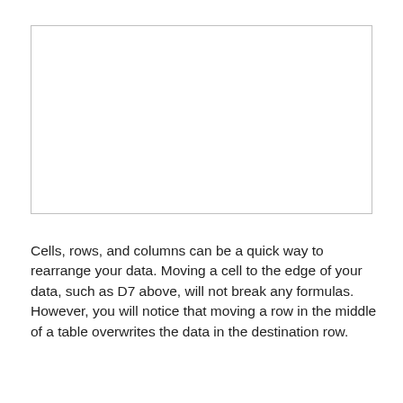[Figure (other): Empty white rectangle with light gray border, representing a placeholder image or screenshot area.]
Cells, rows, and columns can be a quick way to rearrange your data. Moving a cell to the edge of your data, such as D7 above, will not break any formulas. However, you will notice that moving a row in the middle of a table overwrites the data in the destination row.